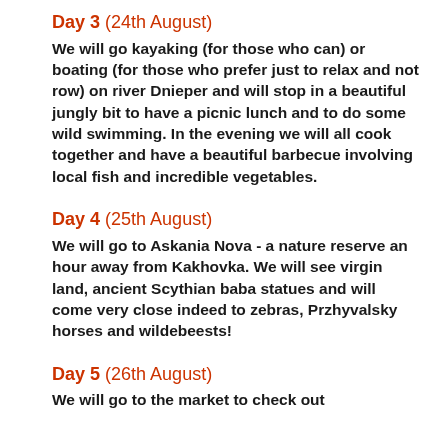Day 3 (24th August)
We will go kayaking (for those who can) or boating (for those who prefer just to relax and not row) on river Dnieper and will stop in a beautiful jungly bit to have a picnic lunch and to do some wild swimming. In the evening we will all cook together and have a beautiful barbecue involving local fish and incredible vegetables.
Day 4 (25th August)
We will go to Askania Nova - a nature reserve an hour away from Kakhovka. We will see virgin land, ancient Scythian baba statues and will come very close indeed to zebras, Przhyvalsky horses and wildebeests!
Day 5 (26th August)
We will go to the market to check out